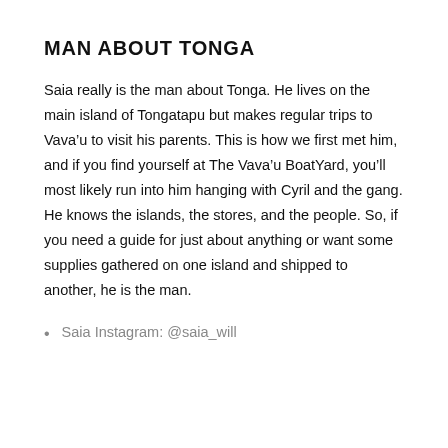MAN ABOUT TONGA
Saia really is the man about Tonga.  He lives on the main island of Tongatapu but makes regular trips to Vava’u to visit his parents.  This is how we first met him, and if you find yourself at The Vava’u BoatYard, you’ll most likely run into him hanging with Cyril and the gang.  He knows the islands, the stores, and the people.  So, if you need a guide for just about anything or want some supplies gathered on one island and shipped to another, he is the man.
Saia Instagram: @saia_will